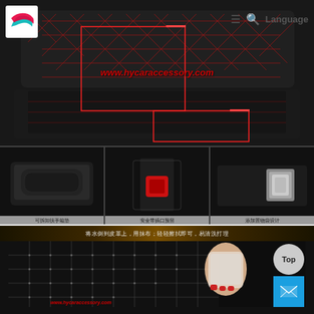[Figure (photo): Screenshot of a product page for car seat covers from www.hycaraccessory.com showing black leather car interior with red diamond stitching pattern, three detail shots of armrest pad, seatbelt slot cover, and pocket design with Chinese captions, plus a cleaning demonstration image below]
www.hycaraccessory.com
可拆卸扶手箱垫
安全带插口预留
添加置物袋设计
将水倒到皮革上，用抹布；轻轻擦拭即可，易清洗打理
Language
Top